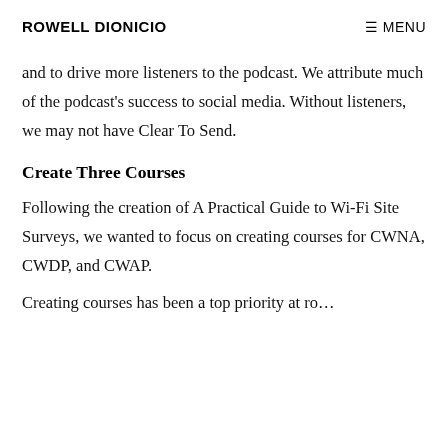ROWELL DIONICIO   ≡ MENU
and to drive more listeners to the podcast. We attribute much of the podcast's success to social media. Without listeners, we may not have Clear To Send.
Create Three Courses
Following the creation of A Practical Guide to Wi-Fi Site Surveys, we wanted to focus on creating courses for CWNA, CWDP, and CWAP.
Creating courses has been a top priority...